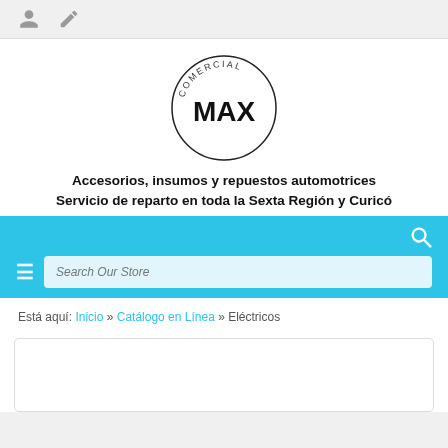[user icon] [edit icon]
[Figure (logo): Circular stamp logo with text 'COMERCIAL' on top arc and 'MAX' in bold in the center]
Accesorios, insumos y repuestos automotrices
Servicio de reparto en toda la Sexta Región y Curicó
[Figure (screenshot): Blue search bar with hamburger menu icon on left, search input field with placeholder 'Search Our Store', and search icon on top right]
Está aquí: Inicio » Catálogo en Línea » Eléctricos
[Figure (other): Empty white box with light border at bottom of page]